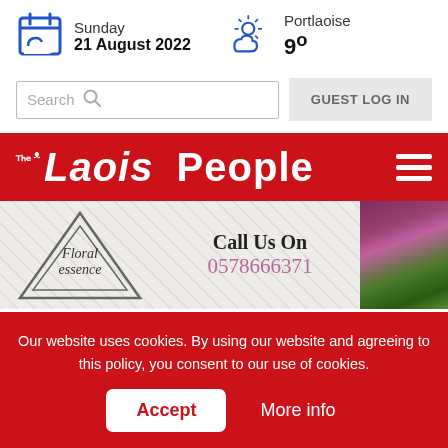Sunday 21 August 2022 | Portlaoise 9°
Search
GUEST LOG IN
The Laois People
[Figure (illustration): Floral Essence advertisement with logo, Call Us On text, phone number 0578666371, and floral imagery]
Our website uses cookies. By using our website and agreeing to this policy, you consent to our use of cookies.
Accept
More info